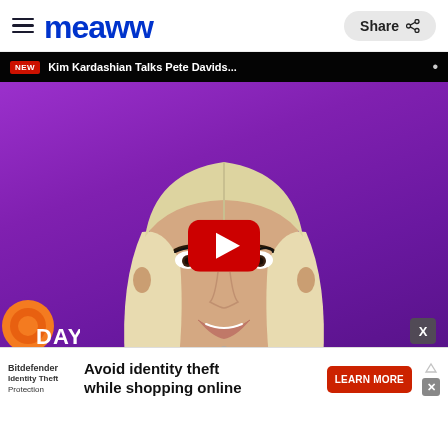Meaww — Share
[Figure (screenshot): Video thumbnail of Kim Kardashian on TODAY show with platinum blonde bob haircut, purple background, white top, smiling. Video title bar reads 'NEW Kim Kardashian Talks Pete Davids...' with a YouTube-style red play button overlay.]
Avoid identity theft while shopping online
Bitdefender Identity Theft Protection
LEARN MORE